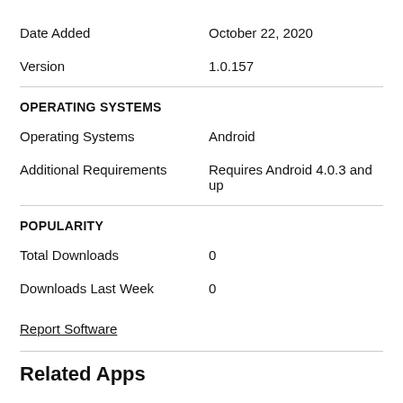Date Added	October 22, 2020
Version	1.0.157
OPERATING SYSTEMS
Operating Systems	Android
Additional Requirements	Requires Android 4.0.3 and up
POPULARITY
Total Downloads	0
Downloads Last Week	0
Report Software
Related Apps